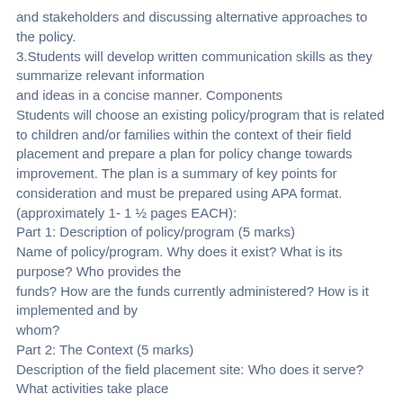and stakeholders and discussing alternative approaches to the policy.
3.Students will develop written communication skills as they summarize relevant information and ideas in a concise manner. Components
Students will choose an existing policy/program that is related to children and/or families within the context of their field placement and prepare a plan for policy change towards improvement. The plan is a summary of key points for consideration and must be prepared using APA format. (approximately 1- 1 ½ pages EACH):
Part 1: Description of policy/program (5 marks)
Name of policy/program. Why does it exist? What is its purpose? Who provides the funds? How are the funds currently administered? How is it implemented and by whom?
Part 2: The Context (5 marks)
Description of the field placement site: Who does it serve? What activities take place there?
Part 3: The Issue (5 marks)